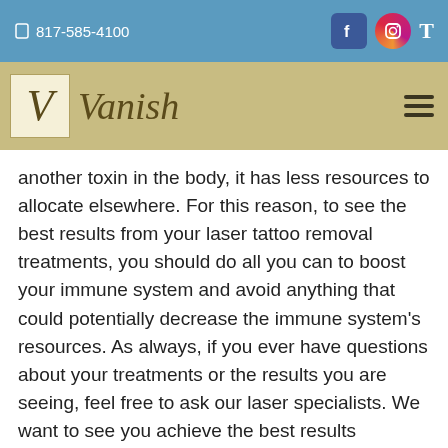817-585-4100
[Figure (logo): Vanish logo with stylized V in a box and italic script text 'Vanish']
another toxin in the body, it has less resources to allocate elsewhere. For this reason, to see the best results from your laser tattoo removal treatments, you should do all you can to boost your immune system and avoid anything that could potentially decrease the immune system's resources. As always, if you ever have questions about your treatments or the results you are seeing, feel free to ask our laser specialists. We want to see you achieve the best results possible and want you to feel comfortable every step of the way.